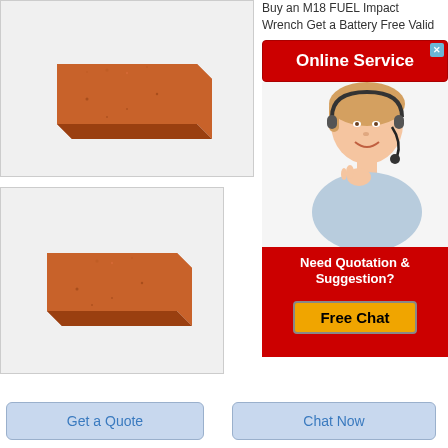[Figure (photo): Reddish-brown clay brick on white/light gray background, top view showing rectangular block shape with 3D perspective]
[Figure (photo): Reddish-brown clay brick on white/light gray background, slightly different angle showing same brick product]
Buy an M18 FUEL Impact Wrench Get a Battery Free Valid
[Figure (infographic): Online Service advertisement panel with red button labeled Online Service, photo of blonde woman with headset, and Need Quotation & Suggestion? Free Chat section]
Get a Quote
Chat Now